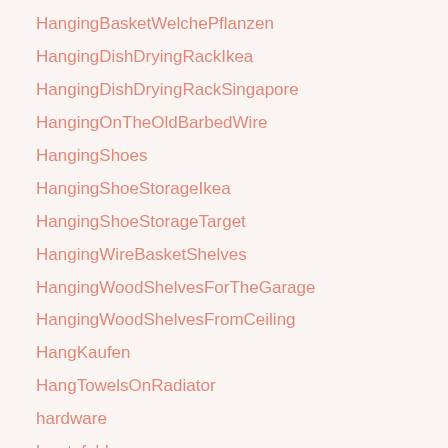HangingBasketWelchePflanzen
HangingDishDryingRackIkea
HangingDishDryingRackSingapore
HangingOnTheOldBarbedWire
HangingShoes
HangingShoeStorageIkea
HangingShoeStorageTarget
HangingWireBasketShelves
HangingWoodShelvesForTheGarage
HangingWoodShelvesFromCeiling
HangKaufen
HangTowelsOnRadiator
hardware
hawtofoldsaree
HealthyMind